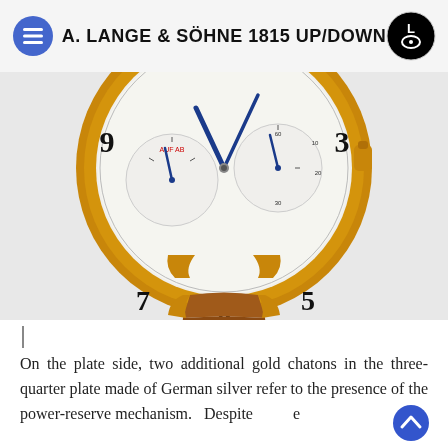A. LANGE & SÖHNE 1815 UP/DOWN
[Figure (photo): Close-up photograph of an A. Lange & Söhne 1815 Up/Down watch with rose gold case, silver dial with two sub-dials, blue hands, and a tan alligator leather strap.]
On the plate side, two additional gold chatons in the three-quarter plate made of German silver refer to the presence of the power-reserve mechanism. Despite e